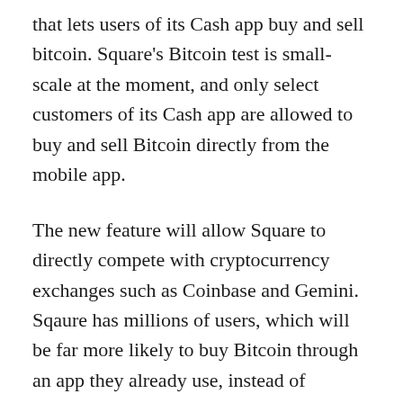that lets users of its Cash app buy and sell bitcoin. Square's Bitcoin test is small-scale at the moment, and only select customers of its Cash app are allowed to buy and sell Bitcoin directly from the mobile app.
The new feature will allow Square to directly compete with cryptocurrency exchanges such as Coinbase and Gemini. Sqaure has millions of users, which will be far more likely to buy Bitcoin through an app they already use, instead of creating a new account on a Bitcoin exchange.